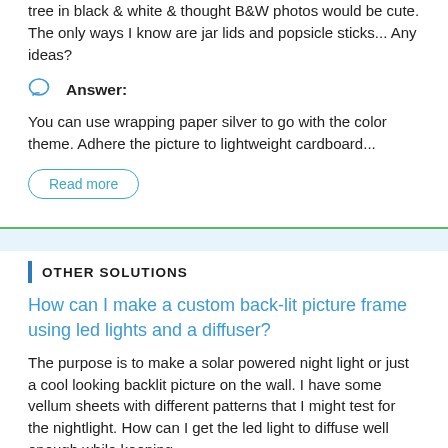tree in black & white & thought B&W photos would be cute. The only ways I know are jar lids and popsicle sticks... Any ideas?
Answer:
You can use wrapping paper silver to go with the color theme. Adhere the picture to lightweight cardboard...
Read more
OTHER SOLUTIONS
How can I make a custom back-lit picture frame using led lights and a diffuser?
The purpose is to make a solar powered night light or just a cool looking backlit picture on the wall. I have some vellum sheets with different patterns that I might test for the nightlight.  How can I get the led light to diffuse well enough while keeping...
Answer: